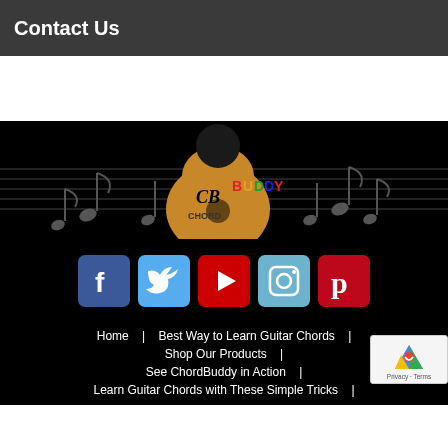Contact Us
[Figure (logo): ChordBuddy guitar logo with musical notes on black background with staff lines]
[Figure (infographic): Social media icons: Facebook (blue), Twitter (light blue), YouTube (red), Instagram (teal/blue), Pinterest (red)]
Home   |   Best Way to Learn Guitar Chords   |
Shop Our Products   |
See ChordBuddy in Action   |
Learn Guitar Chords with These Simple Tricks   |